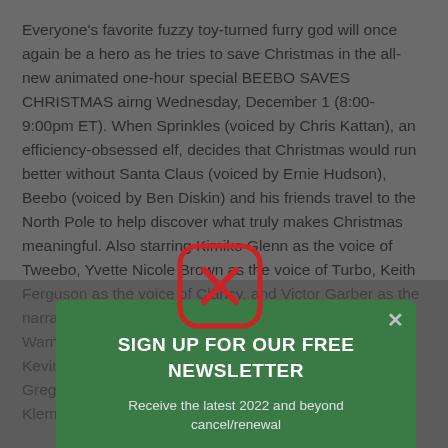Everyone's favorite fuzzy toy-turned furry god will once again be a hero as he tries to save Christmas in the all-new animated one-hour special BEEBO SAVES CHRISTMAS airng Wednesday, December 1 (8:00-9:00pm ET). When Sprinkles (voiced by Chris Kattan), an efficiency-obsessed elf, decides that Christmas would run better without Santa Claus (voiced by Ernie Hudson), Beebo (voiced by Ben Diskin) and his friends travel to the North Pole to help discover what truly makes Christmas meaningful. Also starring Kimiko Glenn as the voice of Tweebo, Yvette Nicole Brown as the voice of Turbo, Keith Ferguson as the voice of Clancy, and Victor Garber as the narrator. BEEBO SAVES CHRISTMAS is produced by Warner Bros. Animation and is written by Matt Maala and Kevin Shinick and executive produced by Sam Register, Greg Berlanti, Sarah Schechter, David Madden, Phil Klemmer, Claudine Geddes, Marc Guggenheim and
[Figure (other): Red rounded-square close icon with an X symbol, overlaying the article text]
[Figure (infographic): Green newsletter signup popup box with title 'SIGN UP FOR OUR FREE NEWSLETTER', subtitle 'Receive the latest 2022 and beyond cancel/renewal', an email input field, and a green circular submit button with arrow icon. A grey X close button is in the top right corner.]